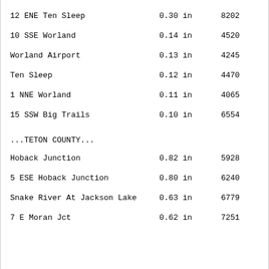| Location | Amount | Elevation |
| --- | --- | --- |
| 12 ENE Ten Sleep | 0.30 in | 8202 |
| 10 SSE Worland | 0.14 in | 4520 |
| Worland Airport | 0.13 in | 4245 |
| Ten Sleep | 0.12 in | 4470 |
| 1 NNE Worland | 0.11 in | 4065 |
| 15 SSW Big Trails | 0.10 in | 6554 |
| ...TETON COUNTY... |  |  |
| Hoback Junction | 0.82 in | 5928 |
| 5 ESE Hoback Junction | 0.80 in | 6240 |
| Snake River At Jackson Lake | 0.63 in | 6779 |
| 7 E Moran Jct | 0.62 in | 7251 |